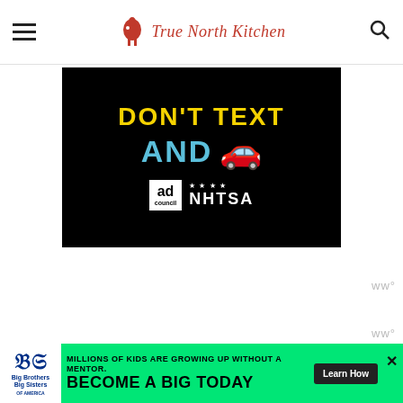True North Kitchen
[Figure (infographic): NHTSA / Ad Council 'Don't Text and Drive' advertisement on black background. Large yellow text 'DON'T TEXT', blue text 'AND', red car emoji, and logos for Ad Council and NHTSA.]
WWº
Hygge is not a disregard for your
WWº
[Figure (infographic): Big Brothers Big Sisters banner ad. Green background. Text: 'MILLIONS OF KIDS ARE GROWING UP WITHOUT A MENTOR. BECOME A BIG TODAY' with 'Learn How' button.]